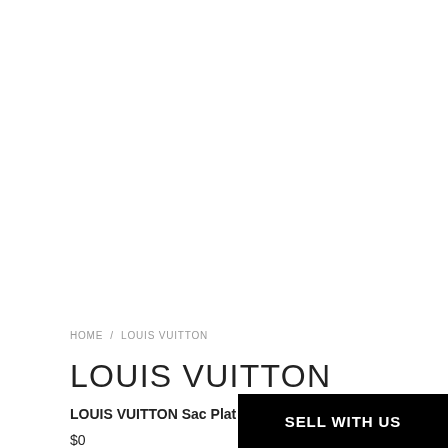[Figure (photo): Large white/blank product image area at top of page]
HOME / LOUIS VUITTON
LOUIS VUITTON
LOUIS VUITTON Sac Plat Bag Monogram Canvas
$0
SELL WITH US